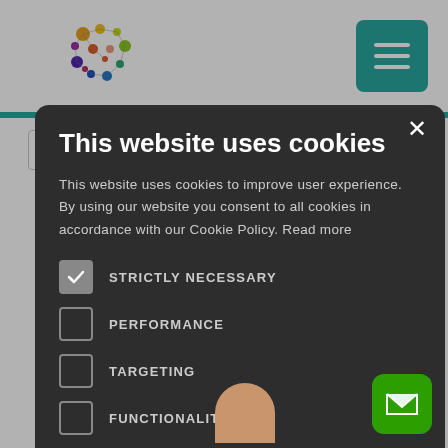[Figure (screenshot): Website navigation bar with colorful dot-network logo and teal hamburger menu button]
This website uses cookies
This website uses cookies to improve user experience. By using our website you consent to all cookies in accordance with our Cookie Policy. Read more
STRICTLY NECESSARY (checked)
PERFORMANCE
TARGETING
FUNCTIONALITY
UNCLASSIFIED
ACCEPT ALL
DECLINE ALL
SHOW DETAILS